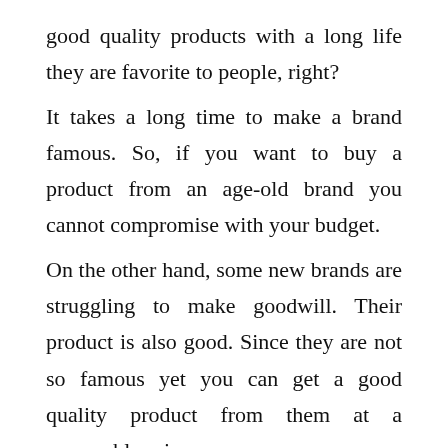good quality products with a long life they are favorite to people, right?
It takes a long time to make a brand famous. So, if you want to buy a product from an age-old brand you cannot compromise with your budget.
On the other hand, some new brands are struggling to make goodwill. Their product is also good. Since they are not so famous yet you can get a good quality product from them at a reasonable price.
Working Mechanism
You should check the working mechanism thoroughly before buying the best one. If you are a newbie, you can watch a video clip or you can read the manual to know about the working